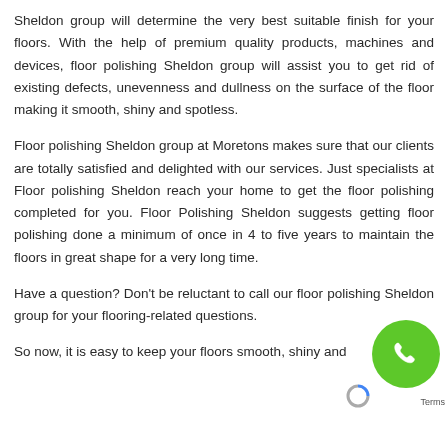Sheldon group will determine the very best suitable finish for your floors. With the help of premium quality products, machines and devices, floor polishing Sheldon group will assist you to get rid of existing defects, unevenness and dullness on the surface of the floor making it smooth, shiny and spotless.
Floor polishing Sheldon group at Moretons makes sure that our clients are totally satisfied and delighted with our services. Just specialists at Floor polishing Sheldon reach your home to get the floor polishing completed for you. Floor Polishing Sheldon suggests getting floor polishing done a minimum of once in 4 to five years to maintain the floors in great shape for a very long time.
Have a question? Don't be reluctant to call our floor polishing Sheldon group for your flooring-related questions.
So now, it is easy to keep your floors smooth, shiny and